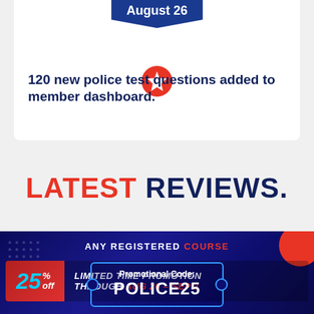August 26
120 new police test questions added to member dashboard.
LATEST REVIEWS.
ANY REGISTERED COURSE
25% off LIMITED TIME PROMOTION THROUGH AUG 26 – SEP 2
Promotional Code: POLICE25